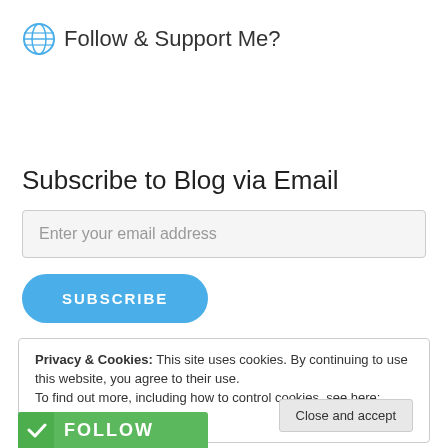🌐 Follow & Support Me?
Subscribe to Blog via Email
Enter your email address
SUBSCRIBE
Privacy & Cookies: This site uses cookies. By continuing to use this website, you agree to their use. To find out more, including how to control cookies, see here: Cookie Policy
Close and accept
Follow